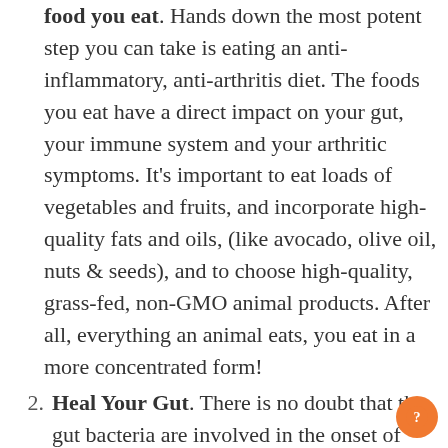food you eat. Hands down the most potent step you can take is eating an anti-inflammatory, anti-arthritis diet. The foods you eat have a direct impact on your gut, your immune system and your arthritic symptoms. It's important to eat loads of vegetables and fruits, and incorporate high-quality fats and oils, (like avocado, olive oil, nuts & seeds), and to choose high-quality, grass-fed, non-GMO animal products. After all, everything an animal eats, you eat in a more concentrated form!
Heal Your Gut. There is no doubt that the gut bacteria are involved in the onset of inflammation and pain in arthritis. By addressing the root cause of inflammation with food and supplements, and building resiliency to stress, you can repair your gut, reduce inflammation and alleviate the pain in your joints. In my practice we remove known inflammatory foods, such as sugar, white flour, and